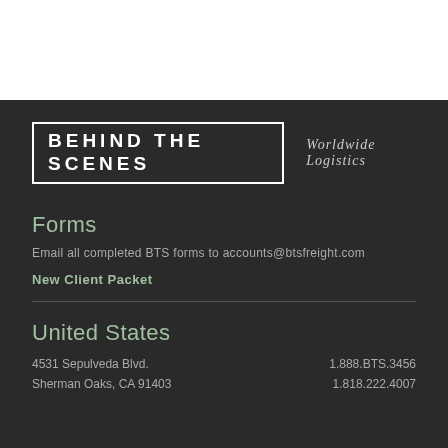[Figure (logo): Behind The Scenes Worldwide Logistics logo — bold uppercase text in a box on dark background with serif italic subtitle]
Forms
Email all completed BTS forms to accounts@btsfreight.com
New Client Packet
United States
4531 Sepulveda Blvd.
Sherman Oaks, CA 91403
1.888.BTS.3456
1.818.222.4007